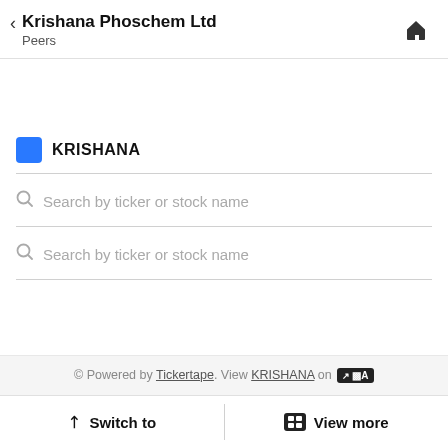Krishana Phoschem Ltd — Peers
KRISHANA
Search by ticker or stock name
Search by ticker or stock name
© Powered by Tickertape. View KRISHANA on [Tickertape logo]
Switch to | View more